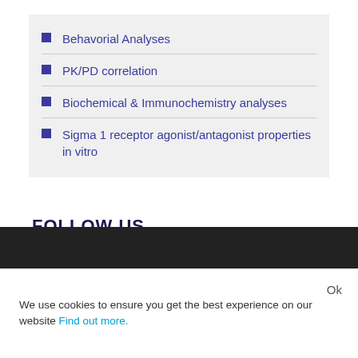Behavorial Analyses
PK/PD correlation
Biochemical & Immunochemistry analyses
Sigma 1 receptor agonist/antagonist properties in vitro
FOLLOW US
[Figure (infographic): Three social media icons: Facebook (f), Twitter (bird), LinkedIn (in), each in a teal rounded square]
We use cookies to ensure you get the best experience on our website Find out more.